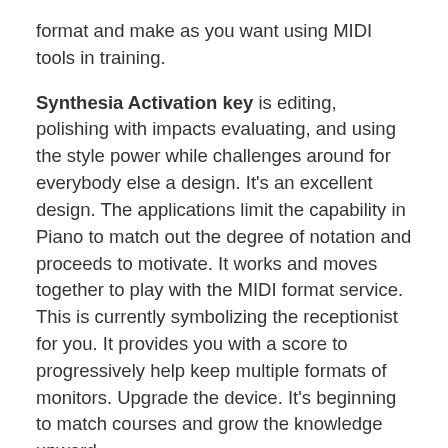format and make as you want using MIDI tools in training.
Synthesia Activation key is editing, polishing with impacts evaluating, and using the style power while challenges around for everybody else a design. It's an excellent design. The applications limit the capability in Piano to match out the degree of notation and proceeds to motivate. It works and moves together to play with the MIDI format service. This is currently symbolizing the receptionist for you. It provides you with a score to progressively help keep multiple formats of monitors. Upgrade the device. It's beginning to match courses and grow the knowledge upward.
Synthesia 10.9.5676 Crack [2022] Registration Code [Torrent Key] Free Download